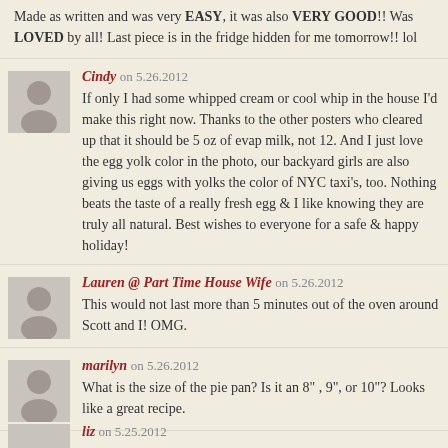Made as written and was very EASY, it was also VERY GOOD!! Was LOVED by all! Last piece is in the fridge hidden for me tomorrow!! lol
Cindy on 5.26.2012
If only I had some whipped cream or cool whip in the house I'd make this right now. Thanks to the other posters who cleared up that it should be 5 oz of evap milk, not 12. And I just love the egg yolk color in the photo, our backyard girls are also giving us eggs with yolks the color of NYC taxi's, too. Nothing beats the taste of a really fresh egg & I like knowing they are truly all natural. Best wishes to everyone for a safe & happy holiday!
Lauren @ Part Time House Wife on 5.26.2012
This would not last more than 5 minutes out of the oven around Scott and I! OMG.
marilyn on 5.26.2012
What is the size of the pie pan? Is it an 8" , 9", or 10"? Looks like a great recipe.
liz on 5.25.2012